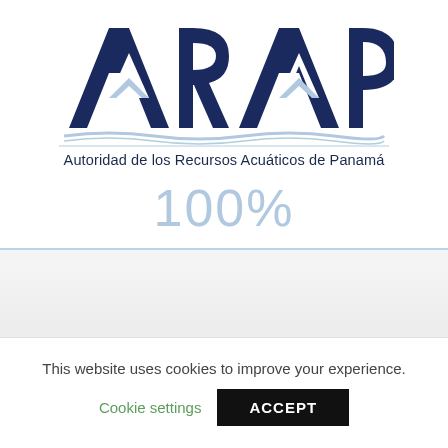[Figure (logo): ARAP logo — large dark navy letters spelling ARAP with a mountain/wave graphic below, followed by horizontal blue wave lines]
Autoridad de los Recursos Acuáticos de Panamá
100%
This website uses cookies to improve your experience.
Cookie settings
ACCEPT